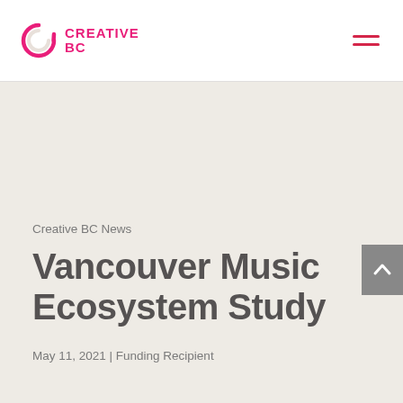CREATIVE BC
Creative BC News
Vancouver Music Ecosystem Study
May 11, 2021 | Funding Recipient